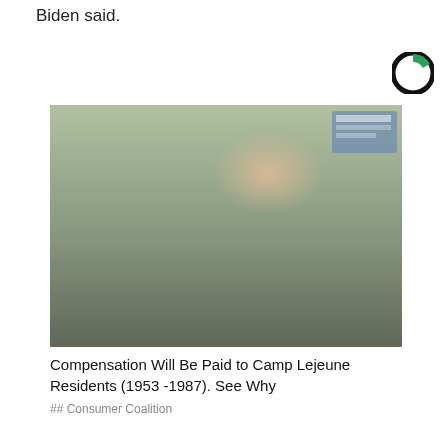Biden said.
[Figure (logo): Circular logo with black outer ring and green/teal inner shape, partial circle cutout]
[Figure (photo): Military serviceman in camouflage uniform and cap crouching beside a brick wall, working on a water shutoff valve or pipe fitting. Blue sign visible in background.]
Compensation Will Be Paid to Camp Lejeune Residents (1953 -1987). See Why
Consumer Coalition